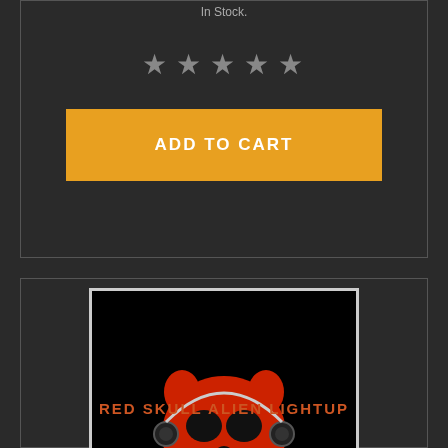In Stock.
[Figure (other): Five star rating icons (grey stars)]
ADD TO CART
[Figure (photo): Red skull alien lightup mask/face with horns and headphone-like attachments on black background]
RED SKULL ALIEN LIGHTUP